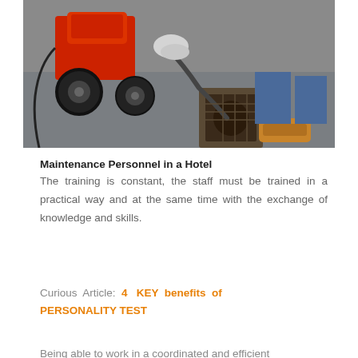[Figure (photo): A maintenance worker using a motorized drain snake/auger machine with red frame and large black wheels on a concrete floor. A gloved hand guides the metal snake cable into an open floor drain. The worker wears jeans and yellow work boots.]
Maintenance Personnel in a Hotel
The training is constant, the staff must be trained in a practical way and at the same time with the exchange of knowledge and skills.
Curious Article: 4 KEY benefits of PERSONALITY TEST
Being able to work in a coordinated and efficient...